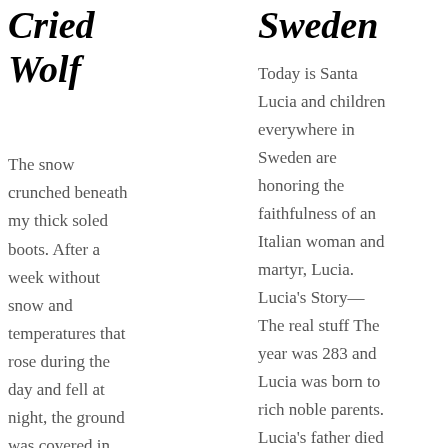Cried Wolf
Sweden
The snow crunched beneath my thick soled boots. After a week without snow and temperatures that rose during the day and fell at night, the ground was covered in patchy bits of hardened snow. The top layer was
Today is Santa Lucia and children everywhere in Sweden are honoring the faithfulness of an Italian woman and martyr, Lucia. Lucia's Story— The real stuff The year was 283 and Lucia was born to rich noble parents. Lucia's father died when she was just